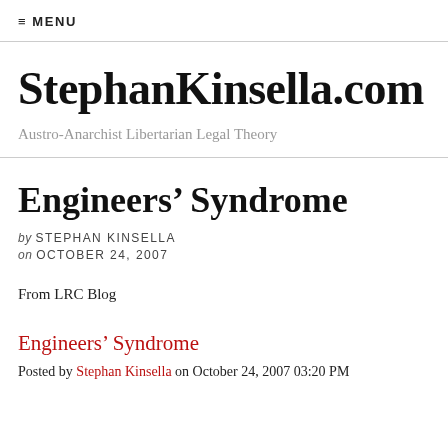≡ MENU
StephanKinsella.com
Austro-Anarchist Libertarian Legal Theory
Engineers' Syndrome
by STEPHAN KINSELLA
on OCTOBER 24, 2007
From LRC Blog
Engineers' Syndrome
Posted by Stephan Kinsella on October 24, 2007 03:20 PM